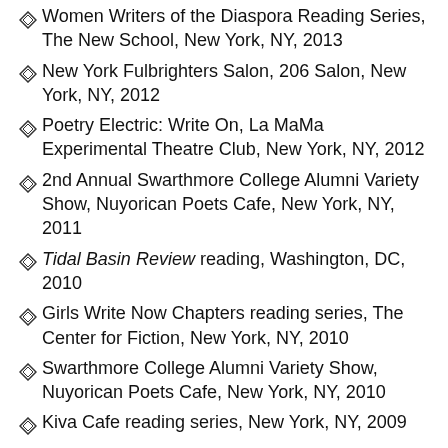Women Writers of the Diaspora Reading Series, The New School, New York, NY, 2013
New York Fulbrighters Salon, 206 Salon, New York, NY, 2012
Poetry Electric: Write On, La MaMa Experimental Theatre Club, New York, NY, 2012
2nd Annual Swarthmore College Alumni Variety Show, Nuyorican Poets Cafe, New York, NY, 2011
Tidal Basin Review reading, Washington, DC, 2010
Girls Write Now Chapters reading series, The Center for Fiction, New York, NY, 2010
Swarthmore College Alumni Variety Show, Nuyorican Poets Cafe, New York, NY, 2010
Kiva Cafe reading series, New York, NY, 2009
Beckoning for Change premier, New York, NY, 2009
Kettle of Fish, New York, NY, March & December 2009
Sunday Salon, Stain Bar, Brooklyn, NY, 2008